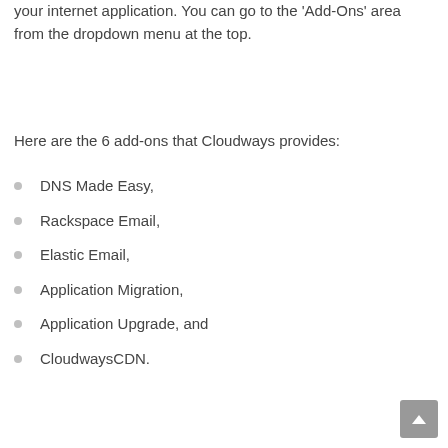your internet application. You can go to the 'Add-Ons' area from the dropdown menu at the top.
Here are the 6 add-ons that Cloudways provides:
DNS Made Easy,
Rackspace Email,
Elastic Email,
Application Migration,
Application Upgrade, and
CloudwaysCDN.